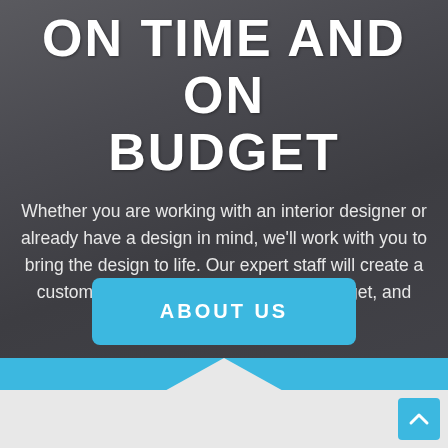ON TIME AND ON BUDGET
Whether you are working with an interior designer or already have a design in mind, we'll work with you to bring the design to life. Our expert staff will create a custom cabinet that suits your style, budget, and design preferences.
ABOUT US